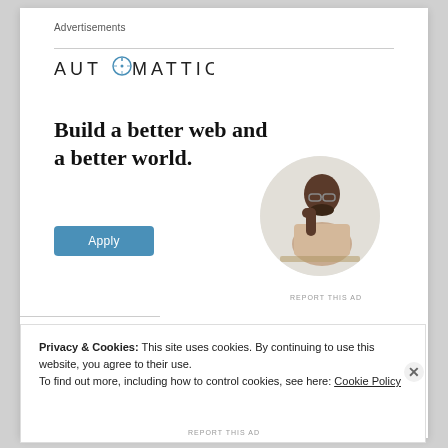Advertisements
[Figure (logo): Automattic logo — company name in spaced capital letters with compass-like circle replacing letter O]
Build a better web and a better world.
[Figure (photo): Circular cropped photo of a young Black man wearing glasses and a beige shirt, resting chin on hand, appearing thoughtful]
Apply
REPORT THIS AD
Privacy & Cookies: This site uses cookies. By continuing to use this website, you agree to their use.
To find out more, including how to control cookies, see here: Cookie Policy
Close and accept
REPORT THIS AD